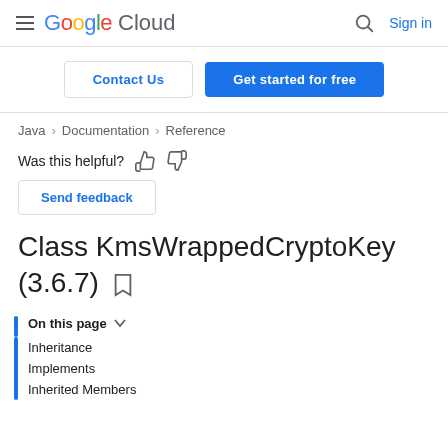Google Cloud  Sign in
Contact Us  Get started for free
Java > Documentation > Reference
Was this helpful? [thumbs up] [thumbs down]
Send feedback
Class KmsWrappedCryptoKey (3.6.7)
On this page
Inheritance
Implements
Inherited Members